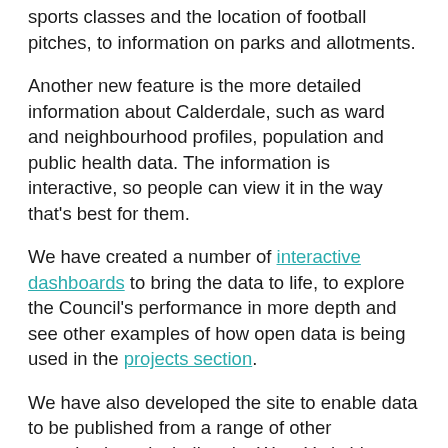sports classes and the location of football pitches, to information on parks and allotments.
Another new feature is the more detailed information about Calderdale, such as ward and neighbourhood profiles, population and public health data. The information is interactive, so people can view it in the way that’s best for them.
We have created a number of interactive dashboards to bring the data to life, to explore the Council’s performance in more depth and see other examples of how open data is being used in the projects section.
We have also developed the site to enable data to be published from a range of other organisations, including the West Yorkshire Combined Authority, Northern Powergrid and Citizens Advice Calderdale. Other local publishers are welcome to get involved